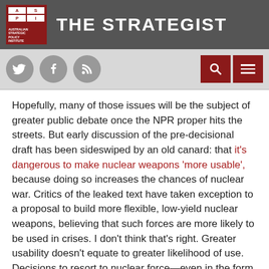THE STRATEGIST — Australian Strategic Policy Institute
[Figure (screenshot): Navigation bar with social media icons (Twitter, Facebook, RSS) and search/menu buttons]
Hopefully, many of those issues will be the subject of greater public debate once the NPR proper hits the streets. But early discussion of the pre-decisional draft has been sideswiped by an old canard: that it's dangerous to make nuclear weapons 'more usable', because doing so increases the chances of nuclear war. Critics of the leaked text have taken exception to a proposal to build more flexible, low-yield nuclear weapons, believing that such forces are more likely to be used in crises. I don't think that's right. Greater usability doesn't equate to greater likelihood of use. Decisions to resort to nuclear force—even in the form of limited strikes—aren't generated by the shape of one's arsenal; they arise from deliberate choice.
Why do more options for limited strikes matter? Because if deterrence fails, we want it to fail in small packages. Doing so